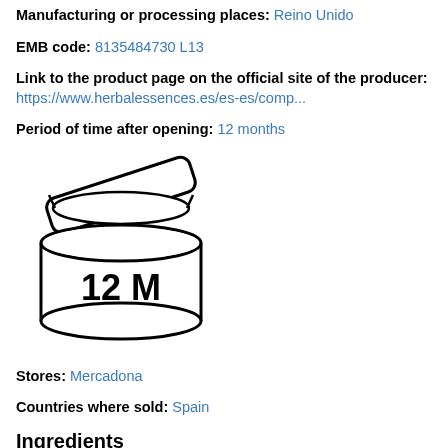Manufacturing or processing places: Reino Unido
EMB code: 8135484730 L13
Link to the product page on the official site of the producer: https://www.herbalessences.es/es-es/comp...
Period of time after opening: 12 months
[Figure (illustration): Open cosmetic jar icon showing a round container with lid open and '12 M' text inside, indicating 12 months period after opening]
Stores: Mercadona
Countries where sold: Spain
Ingredients
[Figure (photo): Partial image of product label showing ingredients text starting with: INGREDIENTS: Aqua, Stearyl Alcohol, Behentrimonium Chloride, Cetyl...]